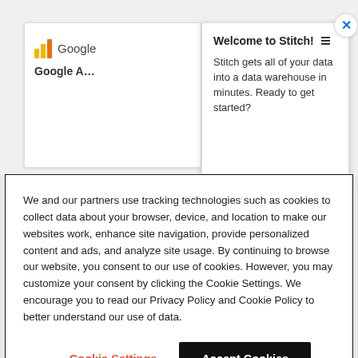[Figure (screenshot): Google Analytics card partially visible behind a Stitch welcome tooltip popup]
Welcome to Stitch!
Stitch gets all of your data into a data warehouse in minutes. Ready to get started?
We and our partners use tracking technologies such as cookies to collect data about your browser, device, and location to make our websites work, enhance site navigation, provide personalized content and ads, and analyze site usage. By continuing to browse our website, you consent to our use of cookies. However, you may customize your consent by clicking the Cookie Settings. We encourage you to read our Privacy Policy and Cookie Policy to better understand our use of data.